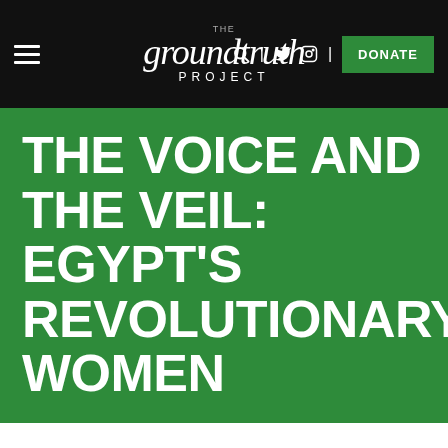The Groundtruth Project — DONATE
THE VOICE AND THE VEIL: EGYPT'S REVOLUTIONARY WOMEN
[Figure (logo): Ford Foundation logo — circular geometric blue and orange pattern icon with text FORD FOUNDATION]